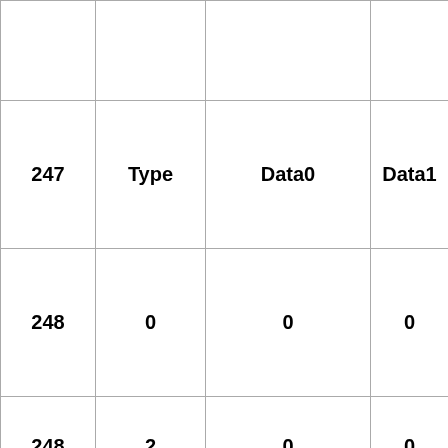|  | Type | Data0 | Data1 |
| --- | --- | --- | --- |
| 247 | Type | Data0 | Data1 |
| 248 | 0 | 0 | 0 |
| 248 | 2 | 0 | 0 |
|  |  |  |  |